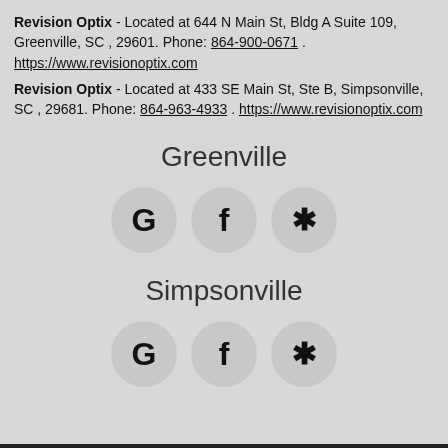Revision Optix - Located at 644 N Main St, Bldg A Suite 109, Greenville, SC , 29601. Phone: 864-900-0671 . https://www.revisionoptix.com
Revision Optix - Located at 433 SE Main St, Ste B, Simpsonville, SC , 29681. Phone: 864-963-4933 . https://www.revisionoptix.com
Greenville
[Figure (infographic): Three social media icon circles for Greenville location: Google (G), Facebook (f), Yelp (asterisk/star)]
Simpsonville
[Figure (infographic): Three social media icon circles for Simpsonville location: Google (G), Facebook (f), Yelp (asterisk/star)]